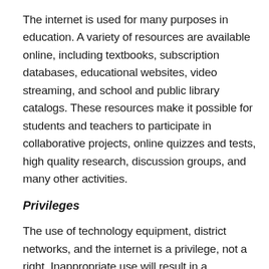The internet is used for many purposes in education. A variety of resources are available online, including textbooks, subscription databases, educational websites, video streaming, and school and public library catalogs. These resources make it possible for students and teachers to participate in collaborative projects, online quizzes and tests, high quality research, discussion groups, and many other activities.
Privileges
The use of technology equipment, district networks, and the internet is a privilege, not a right. Inappropriate use will result in a cancellation of those privileges, and may result in disciplinary and/or legal action.